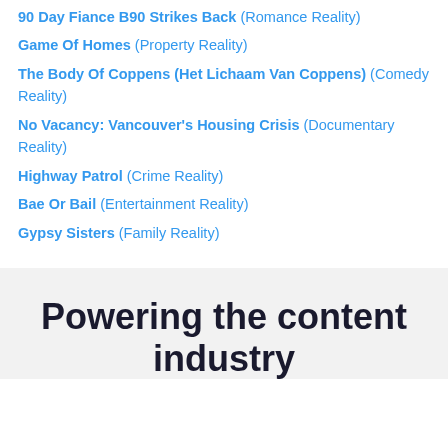90 Day Fiance B90 Strikes Back (Romance Reality)
Game Of Homes (Property Reality)
The Body Of Coppens (Het Lichaam Van Coppens) (Comedy Reality)
No Vacancy: Vancouver's Housing Crisis (Documentary Reality)
Highway Patrol (Crime Reality)
Bae Or Bail (Entertainment Reality)
Gypsy Sisters (Family Reality)
Powering the content industry